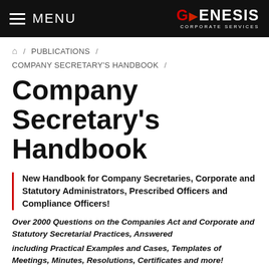MENU | GENESIS CORPORATE SERVICES
🏠 / PUBLICATIONS / COMPANY SECRETARY'S HANDBOOK /
Company Secretary's Handbook
New Handbook for Company Secretaries, Corporate and Statutory Administrators, Prescribed Officers and Compliance Officers!
Over 2000 Questions on the Companies Act and Corporate and Statutory Secretarial Practices, Answered including Practical Examples and Cases, Templates of Meetings, Minutes, Resolutions, Certificates and more!
R 1,995.00 (R1 734.78 Excl VAT)